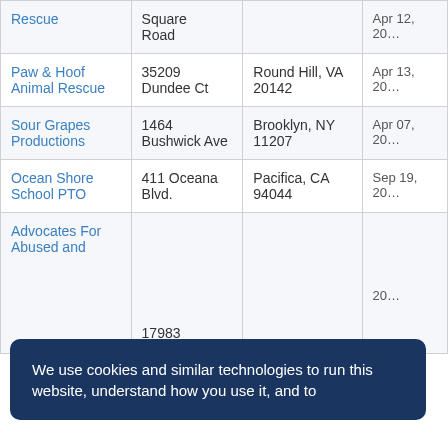| Organization | Address | City/State/ZIP | Date |
| --- | --- | --- | --- |
| [partial] Rescue | Square Road | [partial] | [partial] Apr 12, 20… |
| Paw & Hoof Animal Rescue | 35209 Dundee Ct | Round Hill, VA 20142 | Apr 13, 20… |
| Sour Grapes Productions | 1464 Bushwick Ave | Brooklyn, NY 11207 | Apr 07, 20… |
| Ocean Shore School PTO | 411 Oceana Blvd. | Pacifica, CA 94044 | Sep 19, 20… |
| Advocates For Abused and [partial] | 17983 |  | …20… |
We use cookies and similar technologies to run this website, understand how you use it, and to